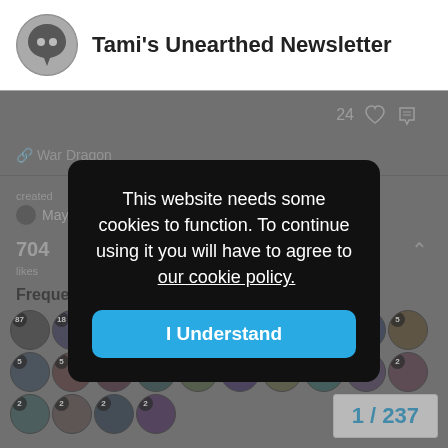Tami's Unearthed Newsletter
24 ♡
War Dragon
created
May 20
704 likes   18 links
Frequent Posters
[Figure (infographic): Grid of user avatar circles with numeric post counts: row1: 87,18,11,9,7,7,7,5,5,5; row2: 5,5,4,4,4,4,3,3,3,2; row3: 2,2,2,2]
This website needs some cookies to function. To continue using it you will have to agree to  our cookie policy.
I Understand
1 / 237